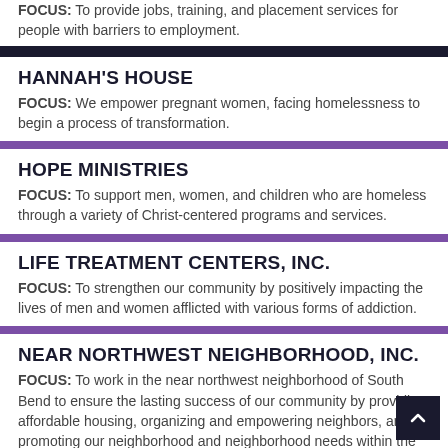FOCUS: To provide jobs, training, and placement services for people with barriers to employment.
HANNAH'S HOUSE
FOCUS: We empower pregnant women, facing homelessness to begin a process of transformation.
HOPE MINISTRIES
FOCUS: To support men, women, and children who are homeless through a variety of Christ-centered programs and services.
LIFE TREATMENT CENTERS, INC.
FOCUS: To strengthen our community by positively impacting the lives of men and women afflicted with various forms of addiction.
NEAR NORTHWEST NEIGHBORHOOD, INC.
FOCUS: To work in the near northwest neighborhood of South Bend to ensure the lasting success of our community by providing affordable housing, organizing and empowering neighbors, and promoting our neighborhood and neighborhood needs within the